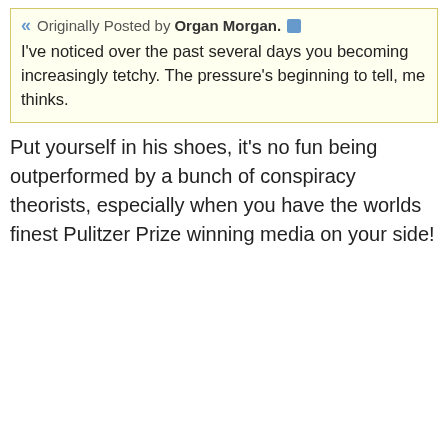Originally Posted by Organ Morgan. I've noticed over the past several days you becoming increasingly tetchy. The pressure's beginning to tell, me thinks.
Put yourself in his shoes, it's no fun being outperformed by a bunch of conspiracy theorists, especially when you have the worlds finest Pulitzer Prize winning media on your side!